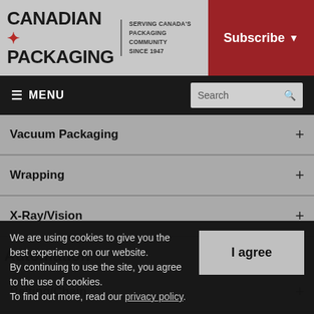CANADIAN PACKAGING — SERVING CANADA'S PACKAGING COMMUNITY SINCE 1947 | Subscribe
≡ MENU | Search
Vacuum Packaging +
Wrapping +
X-Ray/Vision +
Automation
Belting/Chain +
Connectors +
Controls/Sensors +
We are using cookies to give you the best experience on our website. By continuing to use the site, you agree to the use of cookies. To find out more, read our privacy policy.